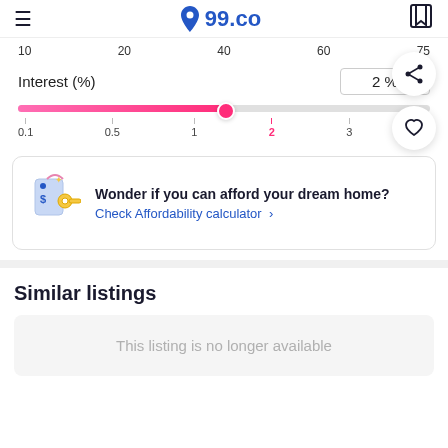99.co
10  20  40  60  75
Interest (%)   2 %
[Figure (other): Horizontal range slider showing interest rate from 0.1 to 4, with fill from 0.1 to 2 in pink/magenta gradient, thumb at position 2]
0.1  0.5  1  2  3  4
Wonder if you can afford your dream home?
Check Affordability calculator >
Similar listings
This listing is no longer available